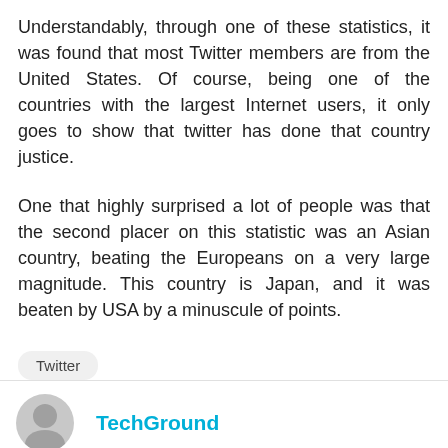Understandably, through one of these statistics, it was found that most Twitter members are from the United States. Of course, being one of the countries with the largest Internet users, it only goes to show that twitter has done that country justice.
One that highly surprised a lot of people was that the second placer on this statistic was an Asian country, beating the Europeans on a very large magnitude. This country is Japan, and it was beaten by USA by a minuscule of points.
Twitter
TechGround